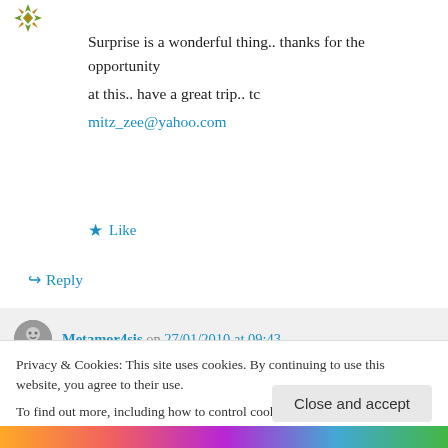[Figure (illustration): Decorative snowflake/star avatar icon in green/gold colors, top-left corner]
Surprise is a wonderful thing.. thanks for the opportunity
at this.. have a great trip.. tc
mitz_zee@yahoo.com
★ Like
↪ Reply
Metamor4sis on 27/01/2010 at 09:43
Privacy & Cookies: This site uses cookies. By continuing to use this website, you agree to their use.
To find out more, including how to control cookies, see here: Cookie Policy
Close and accept